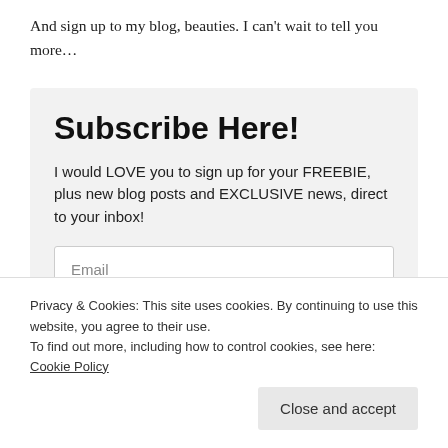And sign up to my blog, beauties. I can't wait to tell you more…
Subscribe Here!
I would LOVE you to sign up for your FREEBIE, plus new blog posts and EXCLUSIVE news, direct to your inbox!
Email
Privacy & Cookies: This site uses cookies. By continuing to use this website, you agree to their use.
To find out more, including how to control cookies, see here: Cookie Policy
Close and accept